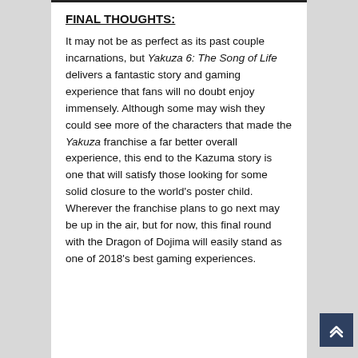FINAL THOUGHTS:
It may not be as perfect as its past couple incarnations, but Yakuza 6: The Song of Life delivers a fantastic story and gaming experience that fans will no doubt enjoy immensely. Although some may wish they could see more of the characters that made the Yakuza franchise a far better overall experience, this end to the Kazuma story is one that will satisfy those looking for some solid closure to the world's poster child. Wherever the franchise plans to go next may be up in the air, but for now, this final round with the Dragon of Dojima will easily stand as one of 2018's best gaming experiences.